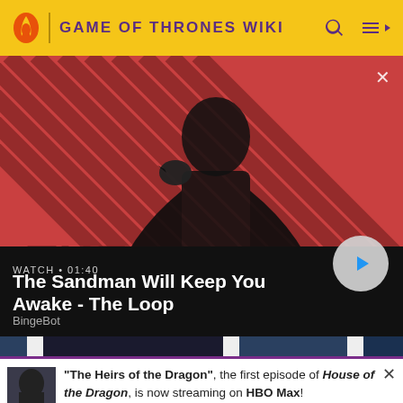GAME OF THRONES WIKI
[Figure (screenshot): Video thumbnail for 'The Sandman Will Keep You Awake - The Loop' showing a dark figure with a raven on a red and black striped background. Shows WATCH • 01:40 label and a play button.]
BingeBot
[Figure (photo): Partial banner strip showing blue and dark clothing elements]
"The Heirs of the Dragon", the first episode of House of the Dragon, is now streaming on HBO Max!